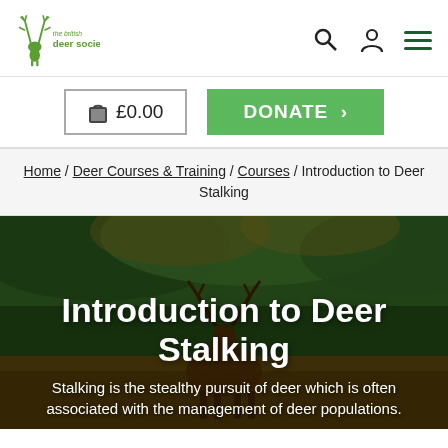[Figure (logo): The British Deer Society logo with deer antler icon and green text]
🛒 £0.00
DONATE >
Home / Deer Courses & Training / Courses / Introduction to Deer Stalking
[Figure (photo): A stag deer with large antlers in a natural woodland setting with autumn foliage]
Introduction to Deer Stalking
Stalking is the stealthy pursuit of deer which is often associated with the management of deer populations.